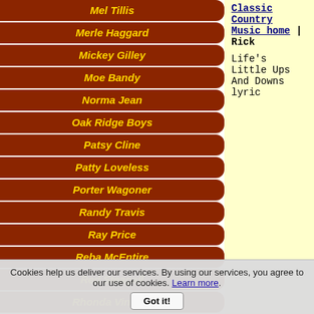Mel Tillis
Merle Haggard
Mickey Gilley
Moe Bandy
Norma Jean
Oak Ridge Boys
Patsy Cline
Patty Loveless
Porter Wagoner
Randy Travis
Ray Price
Reba McEntire
Red Steagall
Rhonda Vincent
Ricky Nelson
Classic Country Music home | Rick
Life's Little Ups And Downs lyric
Cookies help us deliver our services. By using our services, you agree to our use of cookies. Learn more. Got it!